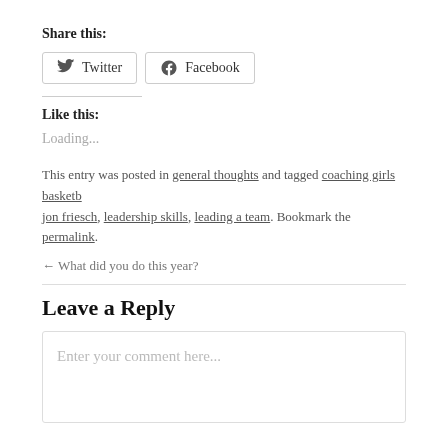Share this:
Twitter  Facebook
Like this:
Loading...
This entry was posted in general thoughts and tagged coaching girls basketb jon friesch, leadership skills, leading a team. Bookmark the permalink.
← What did you do this year?
Leave a Reply
Enter your comment here...